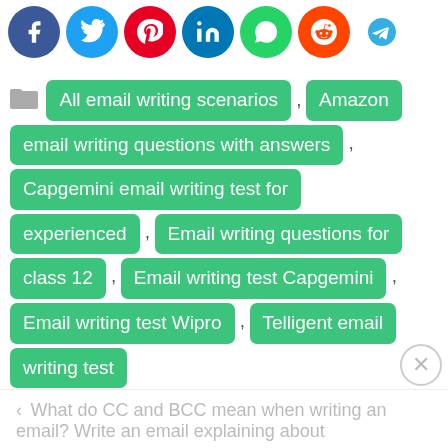[Figure (other): Social media share bar with icons: Facebook, Twitter, Pinterest, LinkedIn, WhatsApp, Reddit, Telegram]
All email writing scenarios , Amazon email writing questions with answers , Capgemini email writing test for experienced , Email writing questions for class 12 , Email writing test Capgemini , Email writing test Wipro , Telligent email writing test
< What do CC and BCC mean when writing an email? Write an email explaining about